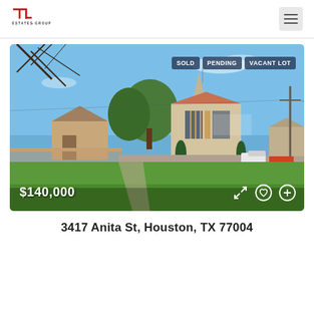[Figure (logo): TL Estates Group logo with stylized TL monogram in red]
[Figure (photo): Exterior photo of a commercial/church building at 3417 Anita St, Houston, TX with a large green lawn in front, blue sky, trees. Shows badges: SOLD, PENDING, VACANT LOT. Price $140,000 displayed at bottom left.]
3417 Anita St, Houston, TX 77004